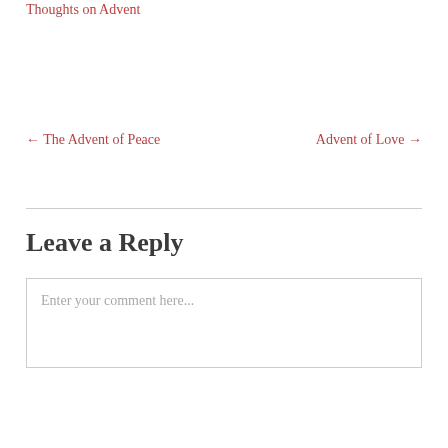Thoughts on Advent
← The Advent of Peace
Advent of Love →
Leave a Reply
Enter your comment here...